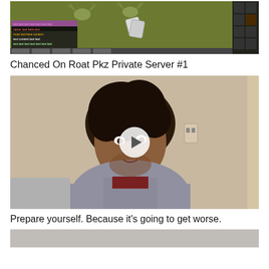[Figure (screenshot): Screenshot of a video game (Roat Pkz Private Server), showing a green game environment with deer heads on wall, interface elements and chat box visible on the left, inventory panel on the right.]
Chanced On Roat Pkz Private Server #1
[Figure (photo): Video thumbnail showing a young man with curly dark hair wearing a grey hoodie over a dark red shirt, sitting against a beige wall. A circular play button overlay is centered on the image.]
Prepare yourself. Because it's going to get worse.
[Figure (photo): Partially visible thumbnail at the bottom of the page, showing a light grey/beige background, top portion of another video.]